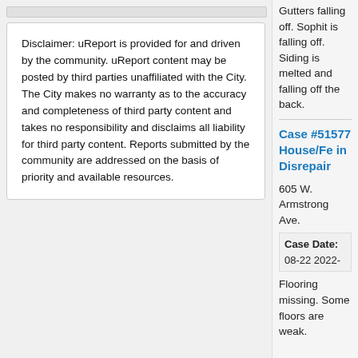Disclaimer: uReport is provided for and driven by the community. uReport content may be posted by third parties unaffiliated with the City. The City makes no warranty as to the accuracy and completeness of third party content and takes no responsibility and disclaims all liability for third party content. Reports submitted by the community are addressed on the basis of priority and available resources.
Gutters falling off. Sophit is falling off. Siding is melted and falling off the back.
Case #51577 House/Fe in Disrepair
605 W. Armstrong Ave.
Case Date: 08-22 2022-
Flooring missing. Some floors are weak.